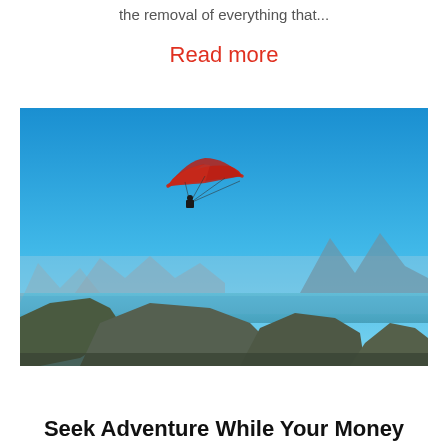the removal of everything that...
Read more
[Figure (photo): A paraglider soaring over dramatic rocky mountains and misty blue coastal scenery, likely in Rio de Janeiro, Brazil. The sky is a vivid clear blue, and multiple mountain peaks and islands are visible in the background.]
Seek Adventure While Your Money